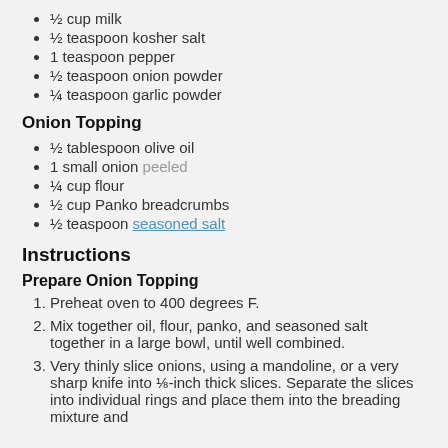½ cup milk
½ teaspoon kosher salt
1 teaspoon pepper
½ teaspoon onion powder
¼ teaspoon garlic powder
Onion Topping
½ tablespoon olive oil
1 small onion peeled
¼ cup flour
½ cup Panko breadcrumbs
½ teaspoon seasoned salt
Instructions
Prepare Onion Topping
1. Preheat oven to 400 degrees F.
2. Mix together oil, flour, panko, and seasoned salt together in a large bowl, until well combined.
3. Very thinly slice onions, using a mandoline, or a very sharp knife into ⅛-inch thick slices. Separate the slices into individual rings and place them into the breading mixture and